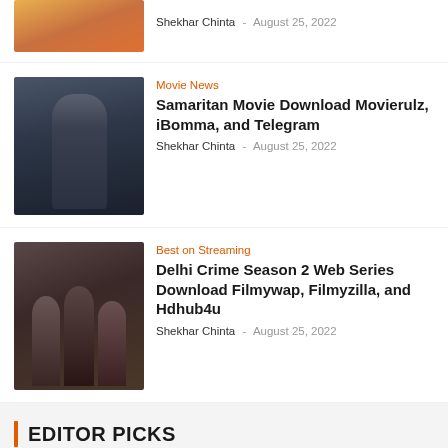[Figure (photo): Partial movie poster image at top]
Shekhar Chinta - August 25, 2022
Movie News
Samaritan Movie Download Movierulz, iBomma, and Telegram
Shekhar Chinta - August 25, 2022
[Figure (photo): Hooded man in dark jacket - Samaritan movie]
Best on Streaming
Delhi Crime Season 2 Web Series Download Filmywap, Filmyzilla, and Hdhub4u
Shekhar Chinta - August 25, 2022
[Figure (photo): Delhi Crime cast group photo]
EDITOR PICKS
Telugu Movies
Pushpa Movie Cast, Crew, Villain, Story, Release Date & More
[Figure (photo): Pushpa movie - actor face close-up]